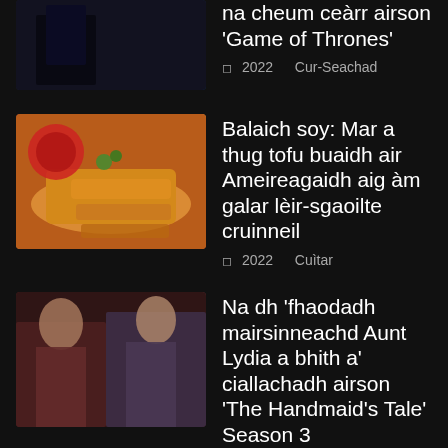[Figure (photo): Thumbnail image for Game of Thrones article, dark scene]
na cheum ceàrr airson 'Game of Thrones'
◻ 2022   Cur-Seachad
[Figure (photo): Thumbnail image of food - fried spring rolls with dipping sauce]
Balaich soy: Mar a thug tofu buaidh air Ameireagaidh aig àm galar lèir-sgaoilte cruinneil
◻ 2022   Cuìtar
[Figure (photo): Thumbnail image from The Handmaid's Tale showing two women]
Na dh 'fhaodadh mairsinneachd Aunt Lydia a bhith a' ciallachadh airson 'The Handmaid's Tale' Season 3
◻ 2022   Cur-Seachad
Air A Mholadh